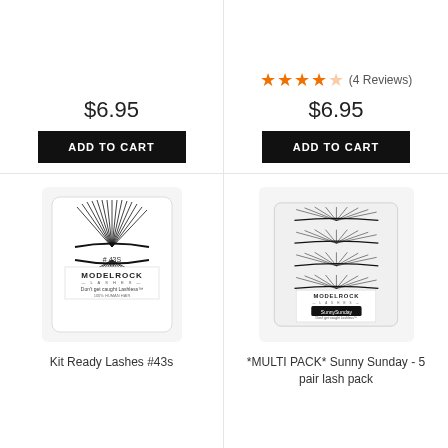$6.95
ADD TO CART
★★★★☆ (4 Reviews)
$6.95
ADD TO CART
[Figure (photo): ModelRock Lashes #43S product packaging showing false lashes]
Kit Ready Lashes #43s
[Figure (photo): ModelRock Lashes Sunny Sunday multi-pack packaging showing 5 pairs of false lashes]
*MULTI PACK* Sunny Sunday - 5 pair lash pack